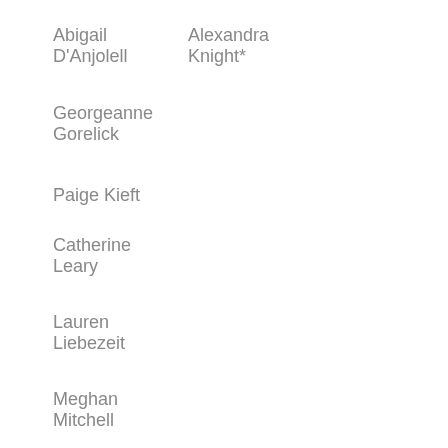Abigail D'Anjolell
Alexandra Knight*
Georgeanne Gorelick
Paige Kieft
Catherine Leary
Lauren Liebezeit
Meghan Mitchell
Brianna